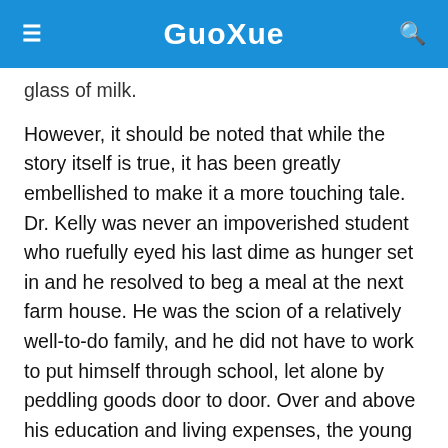GuoXue
glass of milk.
However, it should be noted that while the story itself is true, it has been greatly embellished to make it a more touching tale. Dr. Kelly was never an impoverished student who ruefully eyed his last dime as hunger set in and he resolved to beg a meal at the next farm house. He was the scion of a relatively well-to-do family, and he did not have to work to put himself through school, let alone by peddling goods door to door. Over and above his education and living expenses, the young scholar received from his family a monthly allowance of $5 for pocket money, his biographer noting of his bank account in those days: "It is amazing how many items of necessity and pleasure those $5 deposits accounted for, and yet there was always an unexpended